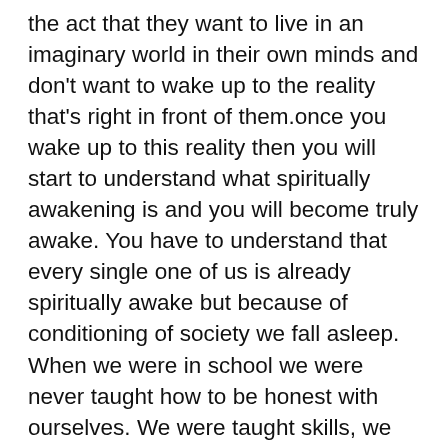the act that they want to live in an imaginary world in their own minds and don't want to wake up to the reality that's right in front of them.once you wake up to this reality then you will start to understand what spiritually awakening is and you will become truly awake. You have to understand that every single one of us is already spiritually awake but because of conditioning of society we fall asleep. When we were in school we were never taught how to be honest with ourselves. We were taught skills, we were taught subjects, we were taught social skills, but we were never taught how to be real with ourselves. We were thrown into a classroom the teacher would say a few logical thins and they expected us to go out into the world and figure it out...